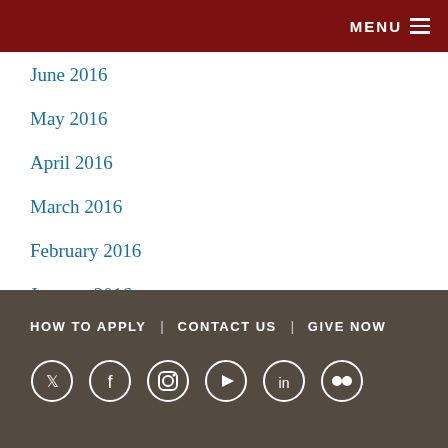MENU
June 2016
May 2016
April 2016
March 2016
February 2016
January 2016
December 2015
HOW TO APPLY | CONTACT US | GIVE NOW